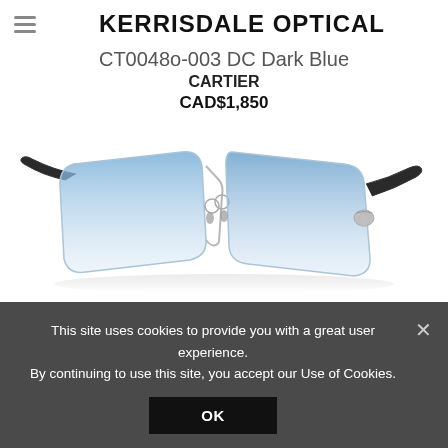KERRISDALE OPTICAL
CT0048o-003 DC Dark Blue
CARTIER
CAD$1,850
[Figure (photo): Cartier rimless sunglasses with blue gradient lenses and dark temples with silver hardware, photographed against a white background.]
This site uses cookies to provide you with a great user experience. By continuing to use this site, you accept our Use of Cookies.